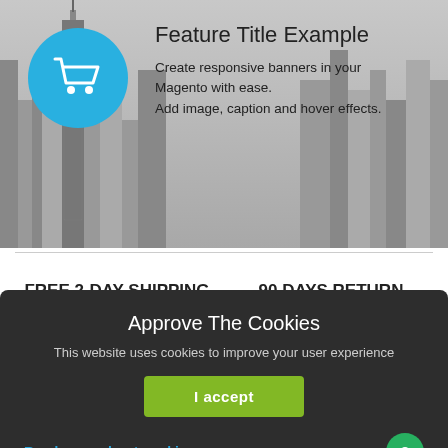[Figure (illustration): Banner with grayscale city skyline background, blue circle with shopping cart icon on the left, and text 'Feature Title Example' with description on the right]
Feature Title Example
Create responsive banners in your Magento with ease. Add image, caption and hover effects.
FREE 2-DAY SHIPPING
90 DAYS RETURN POLICY
Approve The Cookies
This website uses cookies to improve your user experience
I accept
Read more about cookie